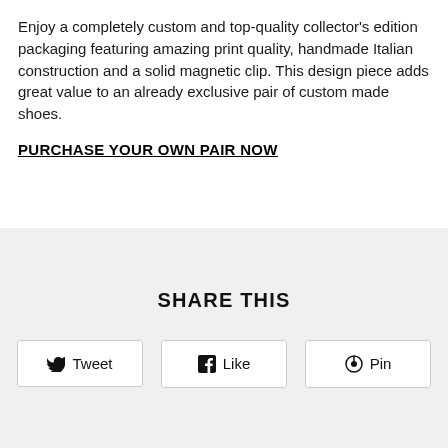Enjoy a completely custom and top-quality collector's edition packaging featuring amazing print quality, handmade Italian construction and a solid magnetic clip. This design piece adds great value to an already exclusive pair of custom made shoes.
PURCHASE YOUR OWN PAIR NOW
SHARE THIS
Tweet | Like | Pin